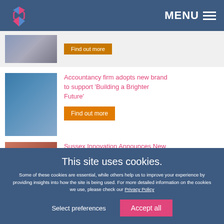MENU
[Figure (photo): Partial article thumbnail with Australian flag visible]
Find out more
[Figure (photo): Man standing next to a branded display banner]
Accountancy firm adopts new brand to support ‘Building a Brighter Future’
Find out more
[Figure (photo): Woman in red jacket seated]
Sussex Innovation Announces New Brighton Centre Director
Find out more
This site uses cookies.
Some of these cookies are essential, while others help us to improve your experience by providing insights into how the site is being used. For more detailed information on the cookies we use, please check our Privacy Policy
Select preferences
Accept all